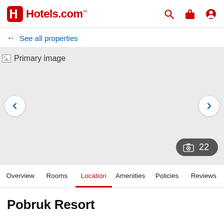Hotels.com
← See all properties
[Figure (photo): Primary image placeholder for hotel photo gallery with navigation arrows and photo count badge showing 22 photos]
Overview | Rooms | Location | Amenities | Policies | Reviews
Pobruk Resort